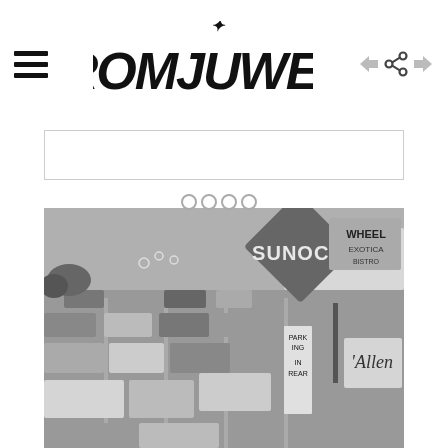CHROMJUWELEN
[Figure (photo): Black and white photograph of heavy traffic on a multi-lane road with a large Sunoco gas station diamond sign, a Wheel/Exotica sign, an Allen sign, and a Parking in Rear sign visible. Multiple cars and trucks from the 1970s-era are lined up in traffic.]